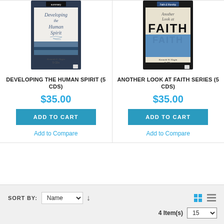[Figure (photo): Book/CD cover for 'Developing the Human Spirit' by Kenneth E. Hagin, 5 CDs, with blue cover showing a scenic landscape]
DEVELOPING THE HUMAN SPIRIT (5 CDS)
$35.00
ADD TO CART
Add to Compare
[Figure (photo): Book/CD cover for 'Another Look at Faith' by Kenneth W. Hagin, 5 CDs, with blue cover showing FAITH in bold letters]
ANOTHER LOOK AT FAITH SERIES (5 CDS)
$35.00
ADD TO CART
Add to Compare
SORT BY:
4 Item(s)
15